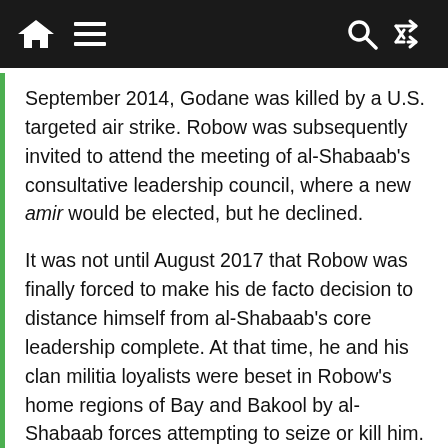[Navigation bar with home, menu, search, and shuffle icons]
September 2014, Godane was killed by a U.S. targeted air strike. Robow was subsequently invited to attend the meeting of al-Shabaab's consultative leadership council, where a new amir would be elected, but he declined.
It was not until August 2017 that Robow was finally forced to make his de facto decision to distance himself from al-Shabaab's core leadership complete. At that time, he and his clan militia loyalists were beset in Robow's home regions of Bay and Bakool by al-Shabaab forces attempting to seize or kill him. He formally and fully defected from the group he once co-led in mid-August after being flown to Mogadishu and meeting with federal government officials. Just